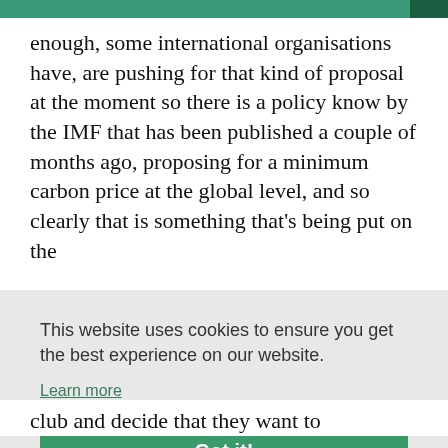enough, some international organisations have, are pushing for that kind of proposal at the moment so there is a policy know by the IMF that has been published a couple of months ago, proposing for a minimum carbon price at the global level, and so clearly that is something that's being put on the
This website uses cookies to ensure you get the best experience on our website.
Learn more
Got it!
club and decide that they want to